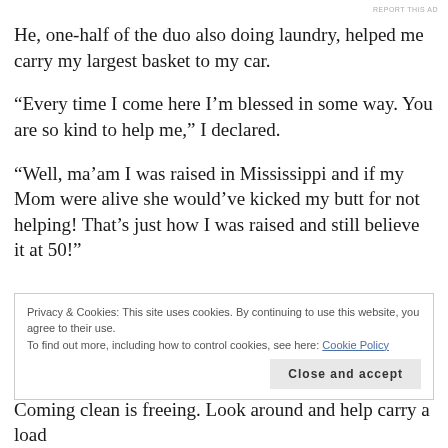REPORT THIS AD
He, one-half of the duo also doing laundry, helped me carry my largest basket to my car.
“Every time I come here I’m blessed in some way. You are so kind to help me,” I declared.
“Well, ma’am I was raised in Mississippi and if my Mom were alive she would’ve kicked my butt for not helping! That’s just how I was raised and still believe it at 50!”
Privacy & Cookies: This site uses cookies. By continuing to use this website, you agree to their use.
To find out more, including how to control cookies, see here: Cookie Policy
Close and accept
Coming clean is freeing. Look around and help carry a load